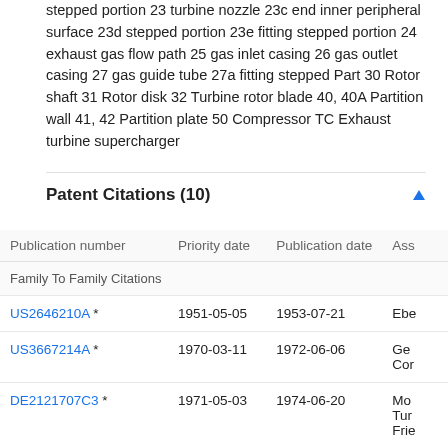stepped portion 23 turbine nozzle 23c end inner peripheral surface 23d stepped portion 23e fitting stepped portion 24 exhaust gas flow path 25 gas inlet casing 26 gas outlet casing 27 gas guide tube 27a fitting stepped Part 30 Rotor shaft 31 Rotor disk 32 Turbine rotor blade 40, 40A Partition wall 41, 42 Partition plate 50 Compressor TC Exhaust turbine supercharger
Patent Citations (10)
| Publication number | Priority date | Publication date | Ass |
| --- | --- | --- | --- |
| Family To Family Citations |  |  |  |
| US2646210A * | 1951-05-05 | 1953-07-21 | Ebe |
| US3667214A * | 1970-03-11 | 1972-06-06 | Ge
Cor |
| DE2121707C3 * | 1971-05-03 | 1974-06-20 | Mo
Tur
Frie |